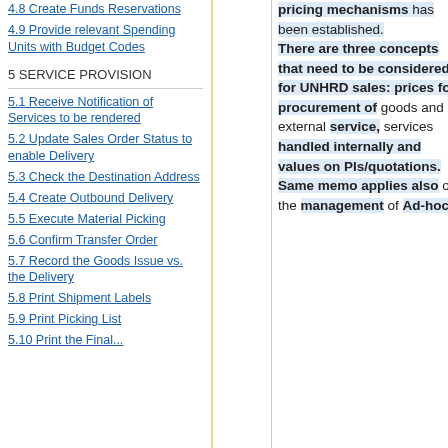4.8 Create Funds Reservations
4.9 Provide relevant Spending Units with Budget Codes
5 SERVICE PROVISION
5.1 Receive Notification of Services to be rendered
5.2 Update Sales Order Status to enable Delivery
5.3 Check the Destination Address
5.4 Create Outbound Delivery
5.5 Execute Material Picking
5.6 Confirm Transfer Order
5.7 Record the Goods Issue vs. the Delivery
5.8 Print Shipment Labels
5.9 Print Picking List
5.10 Print the Final...
pricing mechanisms has been established. There are three concepts that need to be considered for UNHRD sales: prices for procurement of goods and external service, services handled internally and values on PIs/quotations. Same memo applies also on the management of Ad-hoc